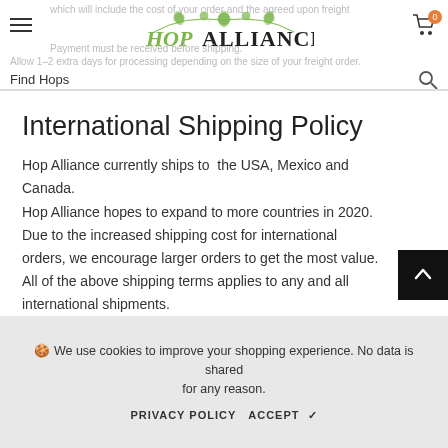which will include the cost of your order and the agreed upon freight
[Figure (logo): Hop Alliance logo with green hop vine decoration and bold text]
Payment must be received before shipping.
Allow 1–2 extra days for processing depending on the size of your freight order.
Find Hops
International Shipping Policy
Hop Alliance currently ships to  the USA, Mexico and Canada.
Hop Alliance hopes to expand to more countries in 2020.
Due to the increased shipping cost for international orders, we encourage larger orders to get the most value.
All of the above shipping terms applies to any and all international shipments.
🍪 We use cookies to improve your shopping experience. No data is shared for any reason.
PRIVACY POLICY   ACCEPT ✔